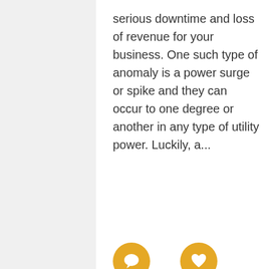serious downtime and loss of revenue for your business. One such type of anomaly is a power surge or spike and they can occur to one degree or another in any type of utility power. Luckily, a...
[Figure (infographic): Two golden circular icon buttons: a comment/speech bubble icon and a heart/like icon, each with a count of 0 below them.]
[Figure (infographic): Website UI overlay showing: pagination numbers, a chat popup saying 'We're offline / Please leave a message', social share buttons (chat, Twitter, Mixx, WhatsApp, share), a grey sidebar panel, and a blue message button.]